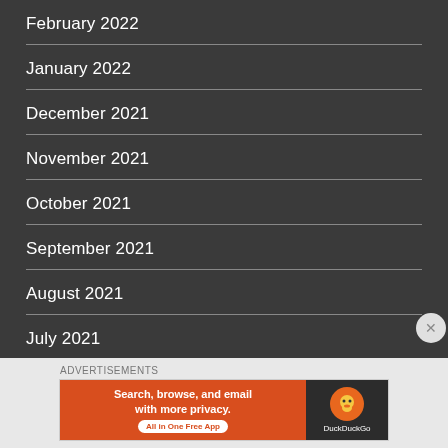February 2022
January 2022
December 2021
November 2021
October 2021
September 2021
August 2021
July 2021
[Figure (screenshot): DuckDuckGo advertisement banner: 'Search, browse, and email with more privacy. All in One Free App' with DuckDuckGo logo on dark background]